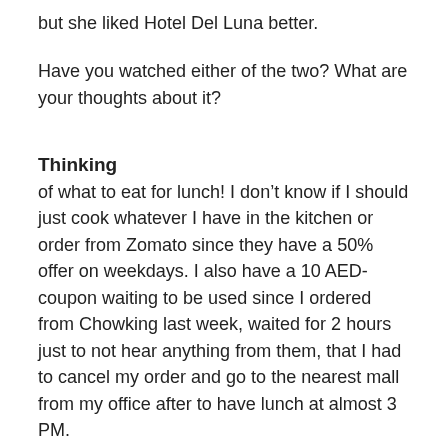but she liked Hotel Del Luna better.
Have you watched either of the two? What are your thoughts about it?
Thinking
of what to eat for lunch! I don’t know if I should just cook whatever I have in the kitchen or order from Zomato since they have a 50% offer on weekdays. I also have a 10 AED-coupon waiting to be used since I ordered from Chowking last week, waited for 2 hours just to not hear anything from them, that I had to cancel my order and go to the nearest mall from my office after to have lunch at almost 3 PM.
Smelling
a teeny bit of my fabric conditioner since I just did laundry. But mostly nothing since I caught the flu.